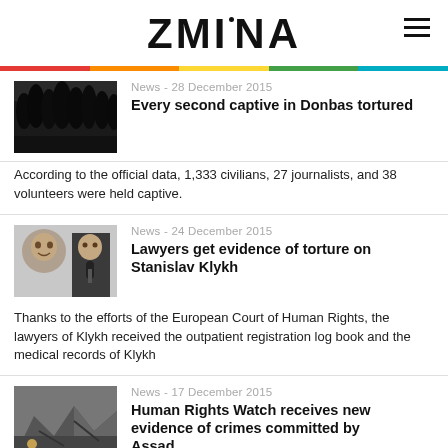ZMINA
[Figure (photo): Dark silhouette photo of trees/people at dusk]
News - 28 December 2015
Every second captive in Donbas tortured
According to the official data, 1,333 civilians, 27 journalists, and 38 volunteers were held captive.
[Figure (photo): Two men photographed, one in a selfie-style close-up and another speaking into a microphone]
News - 24 December 2015
Lawyers get evidence of torture on Stanislav Klykh
Thanks to the efforts of the European Court of Human Rights, the lawyers of Klykh received the outpatient registration log book and the medical records of Klykh
[Figure (photo): Black and white photo of destroyed building rubble with people in foreground]
News - 17 December 2015
Human Rights Watch receives new evidence of crimes committed by Assad regime